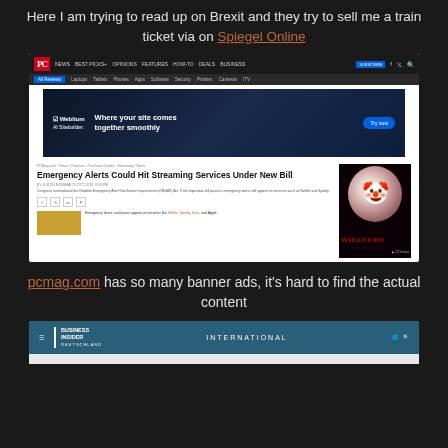Here I am trying to read up on Brexit and they try to sell me a train ticket via on Spiegel Online
[Figure (screenshot): Screenshot of PCMag.com showing navigation bar, a Weblium AI Sitebuilder banner ad, and an article titled 'Emergency Alerts Could Hit Streaming Services Under New Bill', with a clown movie advertisement on the right side]
pcmag.com has so many banner ads, it's hard to find the actual content
[Figure (screenshot): Screenshot of Business Insider Deutschland website showing the navigation bar with BUSINESS INSIDER DEUTSCHLAND logo and INTERNATIONAL menu item]